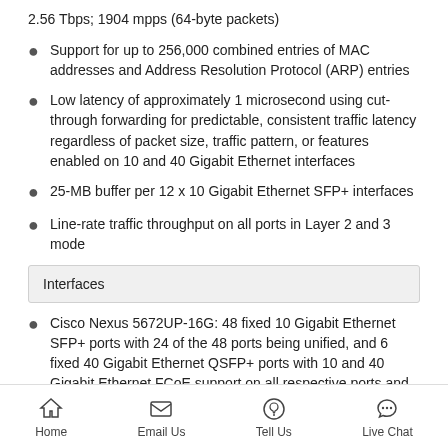2.56 Tbps; 1904 mpps (64-byte packets)
Support for up to 256,000 combined entries of MAC addresses and Address Resolution Protocol (ARP) entries
Low latency of approximately 1 microsecond using cut-through forwarding for predictable, consistent traffic latency regardless of packet size, traffic pattern, or features enabled on 10 and 40 Gigabit Ethernet interfaces
25-MB buffer per 12 x 10 Gigabit Ethernet SFP+ interfaces
Line-rate traffic throughput on all ports in Layer 2 and 3 mode
Interfaces
Cisco Nexus 5672UP-16G: 48 fixed 10 Gigabit Ethernet SFP+ ports with 24 of the 48 ports being unified, and 6 fixed 40 Gigabit Ethernet QSFP+ ports with 10 and 40 Gigabit Ethernet FCoE support on all respective ports and
Home   Email Us   Tell Us   Live Chat